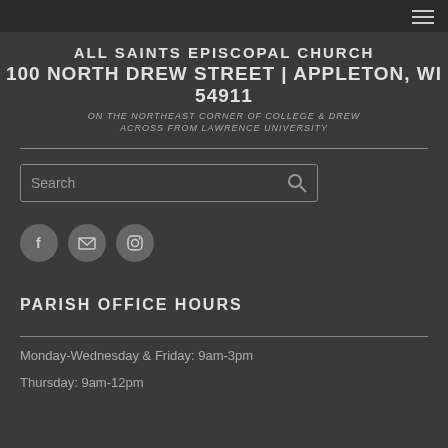ALL SAINTS EPISCOPAL CHURCH · 100 NORTH DREW STREET | APPLETON, WI 54911
ALL SAINTS EPISCOPAL CHURCH
100 NORTH DREW STREET | APPLETON, WI 54911
ON THE NORTHEAST CORNER OF COLLEGE & DREW
ACROSS FROM LAWRENCE UNIVERSITY
[Figure (other): Search box with magnifying glass icon]
[Figure (other): Social media icons: Facebook, Email, Instagram]
PARISH OFFICE HOURS
Monday-Wednesday & Friday: 9am-3pm
Thursday: 9am-12pm